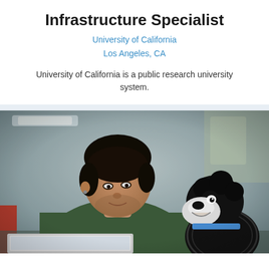Infrastructure Specialist
University of California
Los Angeles, CA
University of California is a public research university system.
[Figure (photo): A young man with dark hair wearing a dark green sweater sits with a laptop, looking at a black and white dog that is looking up at him. The setting appears to be an office or casual workspace.]